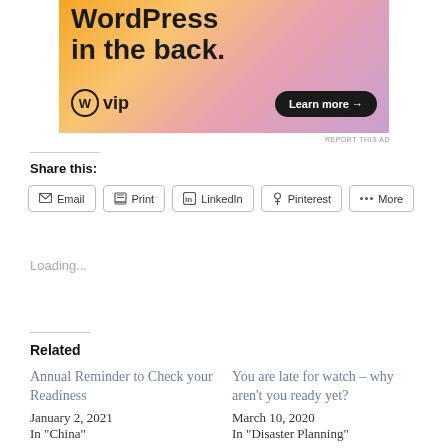[Figure (advertisement): WordPress VIP advertisement banner with colorful gradient background, large text 'WordPress in the back.', WordPress VIP logo, and 'Learn more →' button]
REPORT THIS AD
Share this:
Email   Print   LinkedIn   Pinterest   More
Loading...
Related
Annual Reminder to Check your Readiness
January 2, 2021
In "China"
You are late for watch – why aren't you ready yet?
March 10, 2020
In "Disaster Planning"